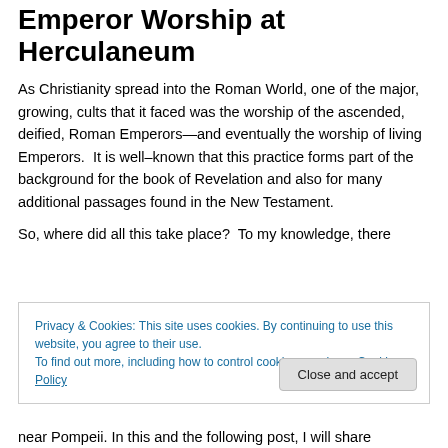Emperor Worship at Herculaneum
As Christianity spread into the Roman World, one of the major, growing, cults that it faced was the worship of the ascended, deified, Roman Emperors—and eventually the worship of living Emperors.  It is well–known that this practice forms part of the background for the book of Revelation and also for many additional passages found in the New Testament.
So, where did all this take place?  To my knowledge, there
Privacy & Cookies: This site uses cookies. By continuing to use this website, you agree to their use.
To find out more, including how to control cookies, see here: Cookie Policy
near Pompeii. In this and the following post, I will share